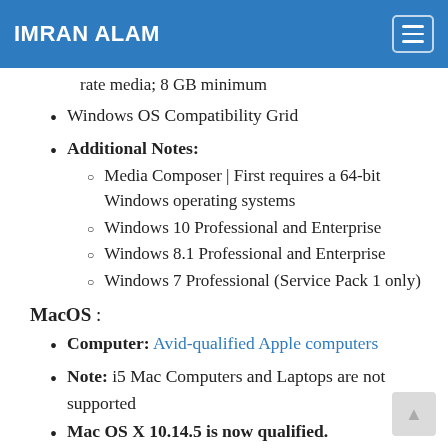IMRAN ALAM
rate media; 8 GB minimum
Windows OS Compatibility Grid
Additional Notes:
Media Composer | First requires a 64-bit Windows operating systems
Windows 10 Professional and Enterprise
Windows 8.1 Professional and Enterprise
Windows 7 Professional (Service Pack 1 only)
MacOS :
Computer: Avid-qualified Apple computers
Note: i5 Mac Computers and Laptops are not supported
Mac OS X 10.14.5 is now qualified.